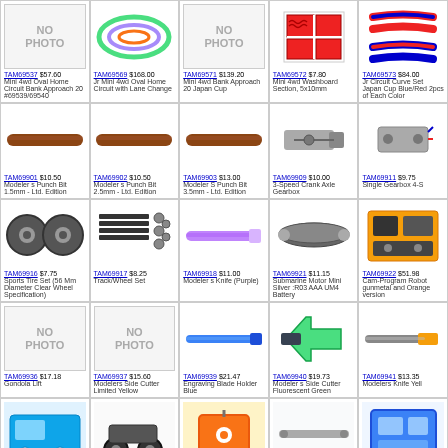[Figure (photo): NO PHOTO placeholder]
TAM69537 $57.60 Mini 4wd Oval Home Circuit Bank Approach 20 #69539/69540
[Figure (photo): Jr Mini 4wd Oval Home Circuit with Lane Change]
TAM69569 $168.00 Jr Mini 4wd Oval Home Circuit with Lane Change
[Figure (photo): NO PHOTO placeholder]
TAM69571 $139.20 Mini 4wd Bank Approach 20 Japan Cup
[Figure (photo): Mini 4wd Washboard Section 5x10mm]
TAM69572 $7.80 Mini 4wd Washboard Section, 5x10mm
[Figure (photo): Jr Circuit Curve Set Japan Cup Blue/Red]
TAM69573 $84.00 Jr Circuit Curve Set Japan Cup Blue/Red 2pcs of Each Color
[Figure (photo): Modeler s Punch Bit 1.5mm]
TAM69901 $10.50 Modeler s Punch Bit 1.5mm - Ltd. Edition
[Figure (photo): Modeler s Punch Bit 2.5mm]
TAM69902 $10.50 Modeler s Punch Bit 2.5mm - Ltd. Edition
[Figure (photo): Modeler S Punch Bit 3.5mm]
TAM69903 $13.00 Modeler S Punch Bit 3.5mm - Ltd. Edition
[Figure (photo): 3-Speed Crank Axle Gearbox]
TAM69909 $10.00 3-Speed Crank Axle Gearbox
[Figure (photo): Single Gearbox 4-Speed]
TAM69911 $9.75 Single Gearbox 4-S
[Figure (photo): Sports Tire Set 56mm]
TAM69916 $7.75 Sports Tire Set (56 Mm Diameter Clear Wheel Specification)
[Figure (photo): Track/Wheel Set]
TAM69917 $8.25 Track/Wheel Set
[Figure (photo): Modeler s Knife Purple]
TAM69918 $11.00 Modeler s Knife (Purple)
[Figure (photo): Submarine Motor Mini Silver R03 AAA]
TAM69921 $11.15 Submarine Motor Mini Silver :R03 AAA UM4 Battery
[Figure (photo): Cam-Program Robot gunmetal and Orange]
TAM69922 $51.98 Cam-Program Robot gunmetal and Orange version
[Figure (photo): NO PHOTO placeholder]
TAM69936 $17.18 Gondola Lift
[Figure (photo): NO PHOTO placeholder]
TAM69937 $15.60 Modelers Side Cutter Limited Yellow
[Figure (photo): Engraving Blade Holder Blue]
TAM69939 $21.47 Engraving Blade Holder Blue
[Figure (photo): Modeler s Side Cutter Fluorescent Green]
TAM69940 $19.73 Modeler s Side Cutter Fluorescent Green
[Figure (photo): Modelers Knife Yellow]
TAM69941 $13.35 Modelers Knife Yell